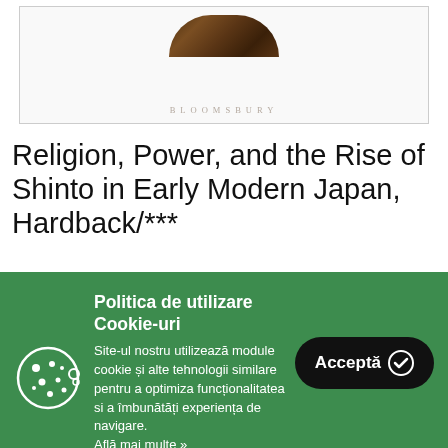[Figure (illustration): Book cover image showing a dark wooden circular object at top and BLOOMSBURY text at bottom, within a bordered white rectangle]
Religion, Power, and the Rise of Shinto in Early Modern Japan, Hardback/***
Redescopera farmecul lecturii si alege-ti de
Politica de utilizare Cookie-uri
Site-ul nostru utilizează module cookie și alte tehnologii similare pentru a optimiza funcționalitatea si a îmbunătăți experiența de navigare. Aflăi mai multe »
Acceptă